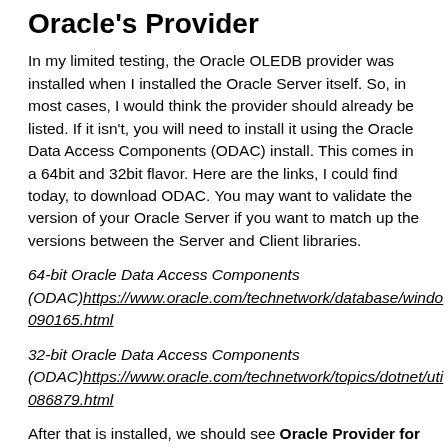Oracle's Provider
In my limited testing, the Oracle OLEDB provider was installed when I installed the Oracle Server itself. So, in most cases, I would think the provider should already be listed. If it isn't, you will need to install it using the Oracle Data Access Components (ODAC) install. This comes in a 64bit and 32bit flavor. Here are the links, I could find today, to download ODAC. You may want to validate the version of your Oracle Server if you want to match up the versions between the Server and Client libraries.
64-bit Oracle Data Access Components (ODAC)https://www.oracle.com/technetwork/database/windows/090165.html
32-bit Oracle Data Access Components (ODAC)https://www.oracle.com/technetwork/topics/dotnet/utilities/086879.html
After that is installed, we should see Oracle Provider for